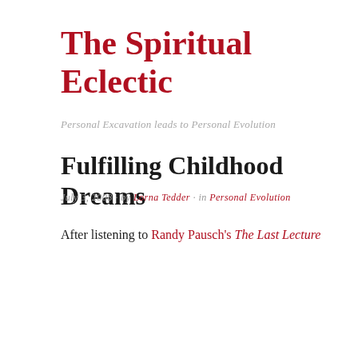The Spiritual Eclectic
Personal Excavation leads to Personal Evolution
Fulfilling Childhood Dreams
July 3, 2008 · by Lorna Tedder · in Personal Evolution
After listening to Randy Pausch's The Last Lecture